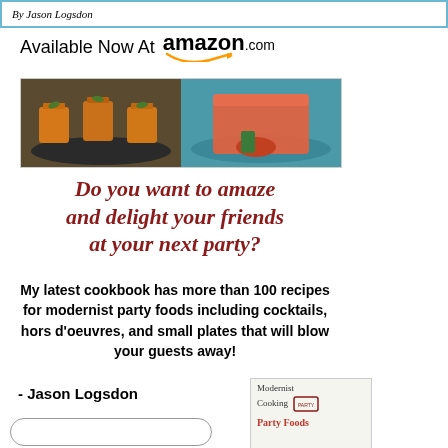By Jason Logsdon
Available Now At amazon.com
[Figure (photo): Two food photos side by side: small cups of soup/appetizer on a dark plate on the left, and a cocktail with a fruit garnish on a teal background on the right.]
Do you want to amaze and delight your friends at your next party?
My latest cookbook has more than 100 recipes for modernist party foods including cocktails, hors d'oeuvres, and small plates that will blow your guests away!
- Jason Logsdon
[Figure (photo): Book thumbnail showing 'Modernist Cooking Party Foods' cover with a stamp/badge graphic.]